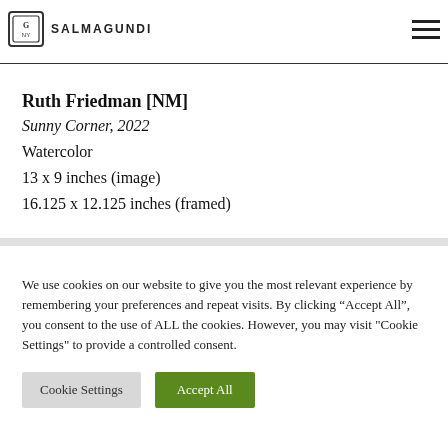SALMAGUNDI
Ruth Friedman [NM]
Sunny Corner, 2022
Watercolor
13 x 9 inches (image)
16.125 x 12.125 inches (framed)
We use cookies on our website to give you the most relevant experience by remembering your preferences and repeat visits. By clicking “Accept All”, you consent to the use of ALL the cookies. However, you may visit "Cookie Settings" to provide a controlled consent.